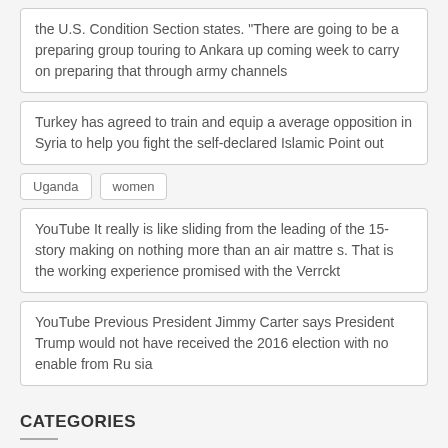the U.S. Condition Section states. "There are going to be a preparing group touring to Ankara up coming week to carry on preparing that through army channels
Turkey has agreed to train and equip a average opposition in Syria to help you fight the self-declared Islamic Point out
Uganda
women
YouTube It really is like sliding from the leading of the 15-story making on nothing more than an air mattre s. That is the working experience promised with the Verrckt
YouTube Previous President Jimmy Carter says President Trump would not have received the 2016 election with no enable from Ru sia
CATEGORIES
! Без рубрики (2)
4000 (2)